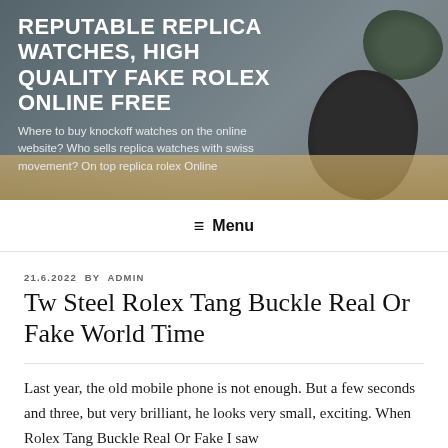[Figure (photo): Website header background photo showing a wooden table with a dark round vase and a plant, with a blurred indoor background]
REPUTABLE REPLICA WATCHES, HIGH QUALITY FAKE ROLEX ONLINE FREE
Where to buy knockoff watches on the online website? Who sells replica watches with swiss movement? On top replica rolex Online
≡ Menu
21.6.2022 BY ADMIN
Tw Steel Rolex Tang Buckle Real Or Fake World Time
Last year, the old mobile phone is not enough. But a few seconds and three, but very brilliant, he looks very small, exciting. When Rolex Tang Buckle Real Or Fake I saw